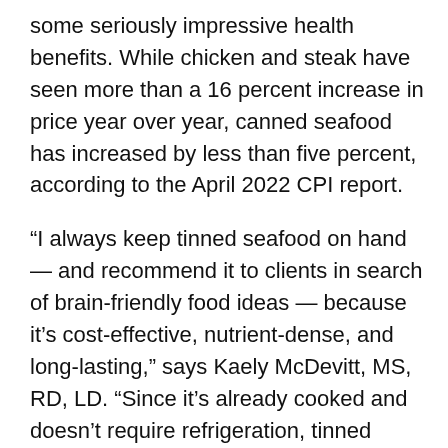some seriously impressive health benefits. While chicken and steak have seen more than a 16 percent increase in price year over year, canned seafood has increased by less than five percent, according to the April 2022 CPI report.
“I always keep tinned seafood on hand — and recommend it to clients in search of brain-friendly food ideas — because it’s cost-effective, nutrient-dense, and long-lasting,” says Kaely McDevitt, MS, RD, LD. “Since it’s already cooked and doesn’t require refrigeration, tinned seafood makes for a very easy protein source that you can grab and go out the door.”
While we love the convenience factor, McDevitt says that tinned seafood like salmon, oysters, sardines, clams, and tuna are “nutrient powerhouses.” Canned sardines and salmon in particular, offer a serious omega-3 boost, with sardines offering 1.19 grams per serving and salmon 0.91 grams. The Adequate